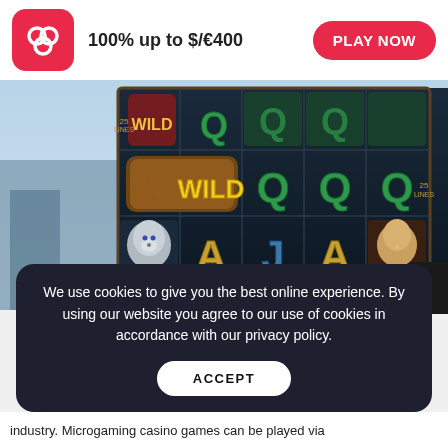[Figure (logo): Red rounded square logo with two overlapping circle/ring icons in white]
100% up to $/€400
PLAY NOW
[Figure (screenshot): Slot machine game screenshot showing reels with symbols: WILD, K, Q, A, J, wolf, and female character. Bottom UI shows Credit 11000.70, Bet 100.00, MAX button, and spin button.]
<
We use cookies to give you the best online experience. By using our website you agree to our use of cookies in accordance with our privacy policy.
ACCEPT
industry. Microgaming casino games can be played via